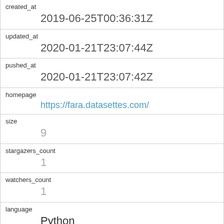| field | value |
| --- | --- |
| created_at | 2019-06-25T00:36:31Z |
| updated_at | 2020-01-21T23:07:44Z |
| pushed_at | 2020-01-21T23:07:42Z |
| homepage | https://fara.datasettes.com/ |
| size | 9 |
| stargazers_count | 1 |
| watchers_count | 1 |
| language | Python |
| has_issues | 1 |
| has_projects | 1 |